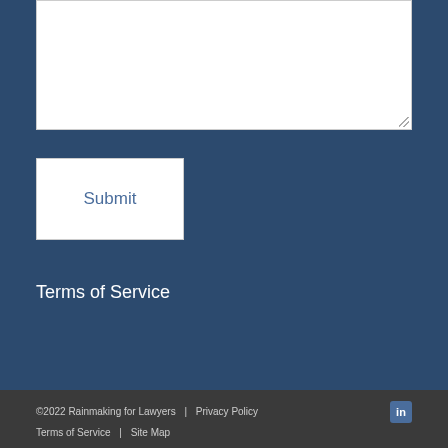[Figure (screenshot): White textarea input box with resize handle in bottom-right corner, on dark blue background]
Submit
Terms of Service
©2022 Rainmaking for Lawyers | Privacy Policy | Terms of Service | Site Map